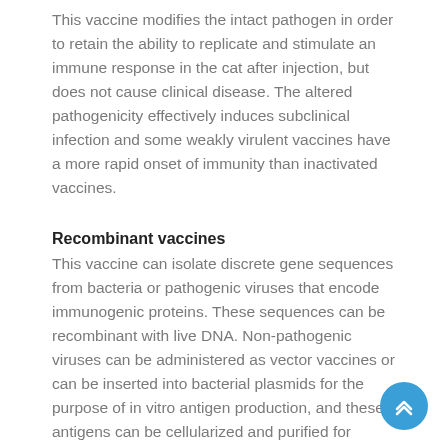This vaccine modifies the intact pathogen in order to retain the ability to replicate and stimulate an immune response in the cat after injection, but does not cause clinical disease. The altered pathogenicity effectively induces subclinical infection and some weakly virulent vaccines have a more rapid onset of immunity than inactivated vaccines.
Recombinant vaccines
This vaccine can isolate discrete gene sequences from bacteria or pathogenic viruses that encode immunogenic proteins. These sequences can be recombinant with live DNA. Non-pathogenic viruses can be administered as vector vaccines or can be inserted into bacterial plasmids for the purpose of in vitro antigen production, and these antigens can be cellularized and purified for incorporation into subunit vaccines. Both are approved for use in veterinary medicine. To study the safety of adjuvant-free vaccines in